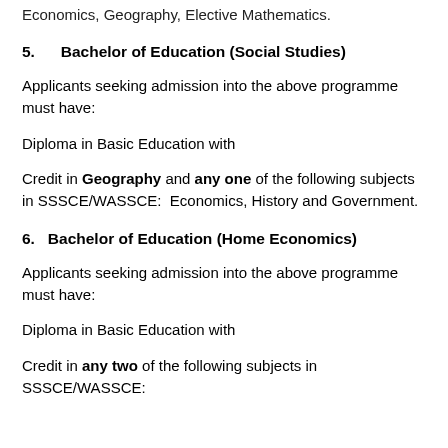Economics, Geography, Elective Mathematics.
5.    Bachelor of Education (Social Studies)
Applicants seeking admission into the above programme must have:
Diploma in Basic Education with
Credit in Geography and any one of the following subjects in SSSCE/WASSCE:  Economics, History and Government.
6.   Bachelor of Education (Home Economics)
Applicants seeking admission into the above programme must have:
Diploma in Basic Education with
Credit in any two of the following subjects in SSSCE/WASSCE: